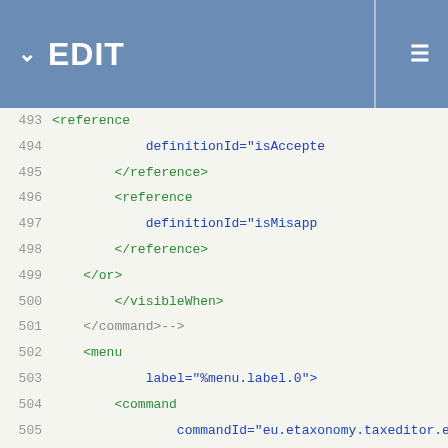EDIT
[Figure (screenshot): Code editor showing XML content with line numbers 493-518, displaying menu/command XML structure with tags in green and attributes in blue on a light background]